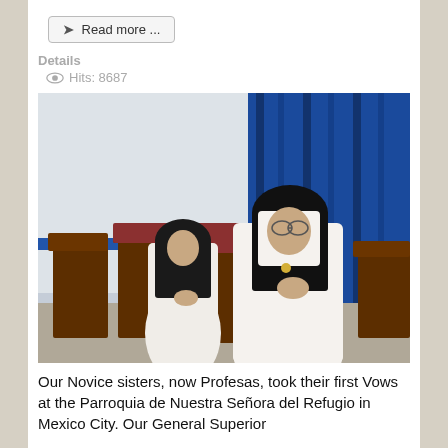Read more ...
Details
Hits: 8687
[Figure (photo): Two nuns in white habits and black veils kneeling in prayer at wooden pews, with blue curtains in the background.]
Our Novice sisters, now Profesas, took their first Vows at the Parroquia de Nuestra Señora del Refugio in Mexico City. Our General Superior